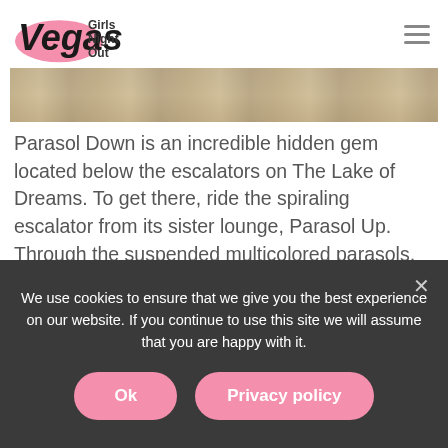[Figure (logo): Vegas Girls Night Out logo with stylized Vegas text on pink blob and Girls Night Out text]
[Figure (photo): Partial image of a wooden surface or flooring, cropped at top of page]
Parasol Down is an incredible hidden gem located below the escalators on The Lake of Dreams. To get there, ride the spiraling escalator from its sister lounge, Parasol Up. Through the suspended multicolored parasols, you'll see a 40-foot waterfall rushing down a pine-topped mountain and multimedia shows every 30 minutes in the evening – all over the
We use cookies to ensure that we give you the best experience on our website. If you continue to use this site we will assume that you are happy with it.